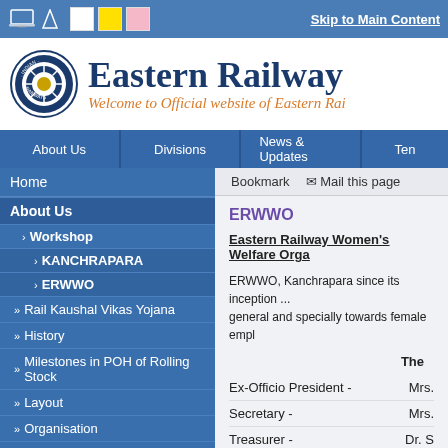Skip to Main Content
Eastern Railway
Welcome to Official website of Eastern Railway
About Us | Divisions | News & Updates | Ten...
Home
About Us
Workshop
KANCHRAPARA
ERWWO
Rail Kaushal Vikas Yojana
History
Milestones in POH of Rolling Stock
Layout
Organisation
Certifications
Contacts
Swachhata Pakhwada 2021
Bookmark   ✉ Mail this page
ERWWО
Eastern Railway Women's Welfare Organisation
ERWWO, Kanchrapara since its inception ... general and specially towards female employees...
The
Ex-Officio President - Mrs.
Secretary - Mrs.
Treasurer - Dr. S